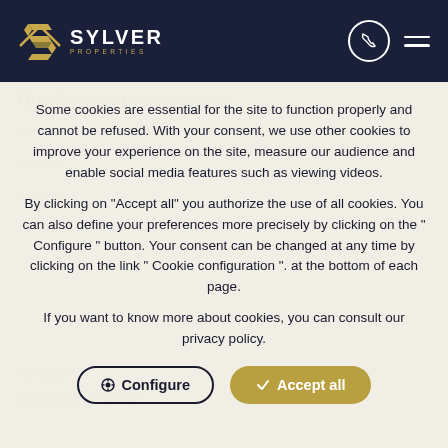[Figure (logo): Sylver Properties logo with stylized S mark in gold and white text on dark navy header bar]
Some cookies are essential for the site to function properly and cannot be refused. With your consent, we use other cookies to improve your experience on the site, measure our audience and enable social media features such as viewing videos.
By clicking on "Accept all" you authorize the use of all cookies. You can also define your preferences more precisely by clicking on the " Configure " button. Your consent can be changed at any time by clicking on the link " Cookie configuration ". at the bottom of each page.
If you want to know more about cookies, you can consult our privacy policy.
Configure
Accept all